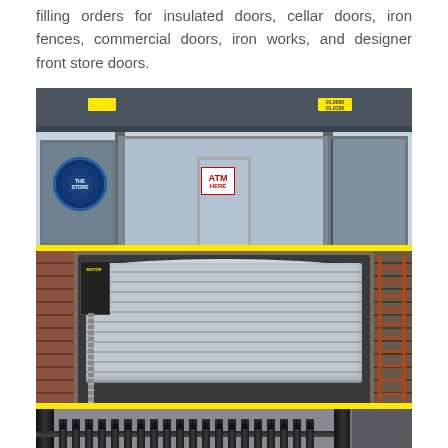filling orders for insulated doors, cellar doors, iron fences, commercial doors, iron works, and designer front store doors.
[Figure (photo): Photo of a store front showing large display windows with an ATM HERE sign, automatic glass entrance door, yellow price tags on the awning, and a blue sky visible in the background.]
[Figure (photo): Photo of a metallic rolling/roll-up garage door in the lowered/closed position, with an electric motor unit mounted on the left side, brick walls on either side, and a red ladder visible on the right.]
[Figure (photo): Photo of black iron fence panels and gate components stored vertically, with pointed spear-top pickets visible, and a yellow label tag attached.]